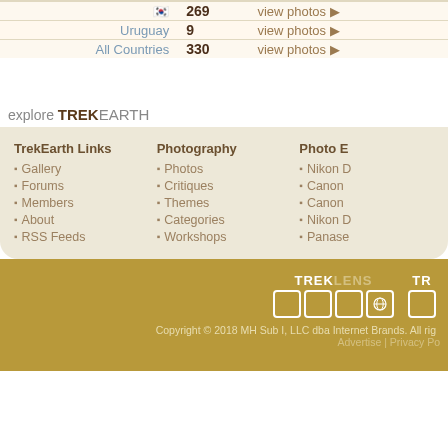| 🇰🇷 | 269 | view photos ▶ |
| Uruguay | 9 | view photos ▶ |
| All Countries | 330 | view photos ▶ |
explore TREKEARTH
TrekEarth Links
Gallery
Forums
Members
About
RSS Feeds
Photography
Photos
Critiques
Themes
Categories
Workshops
Photo E
Nikon D
Canon
Canon
Nikon D
Panase
[Figure (logo): TREKLENS logo with icon boxes and partial TR logo]
Copyright © 2018 MH Sub I, LLC dba Internet Brands. All rig... Advertise | Privacy Po...